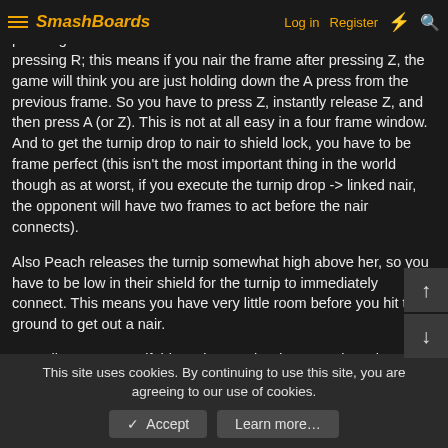SmashBoards — Log in | Register
frame and nair the frame after since the Z button counts as pressing R; this means if you nair the frame after pressing Z, the game will think you are just holding down the A press from the previous frame. So you have to press Z, instantly release Z, and then press A (or Z). This is not at all easy in a four frame window. And to get the turnip drop to nair to shield lock, you have to be frame perfect (this isn't the most important thing in the world though as at worst, if you execute the turnip drop -> linked nair, the opponent will have two frames to act before the nair connects).
Also Peach releases the turnip somewhat high above her, so you have to be low in their shield for the turnip to immediately connect. This means you have very little room before you hit the ground to get out a nair.
Overall, I'm not sure if this option can be done consistently. Which means it's probably better to not have a turnip in hand while dairing your opponent's shield. If you dair your opponent's shield while holding a turnip, one option is to drop the turnip during the IASA frames of dair, while retaining the dair...
This site uses cookies. By continuing to use this site, you are agreeing to our use of cookies.